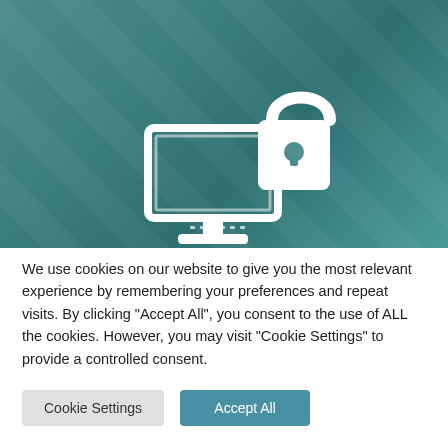[Figure (illustration): Teal/green gradient background with a white icon of a computer monitor and a padlock, representing website security and cookies.]
We use cookies on our website to give you the most relevant experience by remembering your preferences and repeat visits. By clicking "Accept All", you consent to the use of ALL the cookies. However, you may visit "Cookie Settings" to provide a controlled consent.